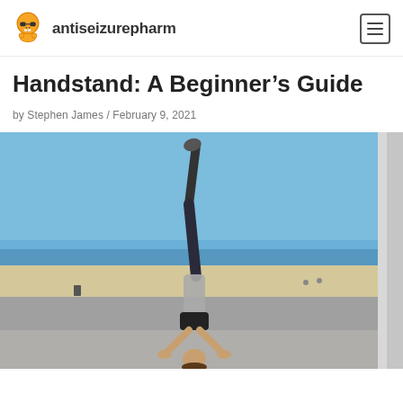antiseizurepharm
Handstand: A Beginner’s Guide
by Stephen James / February 9, 2021
[Figure (photo): A person performing a handstand outdoors on a concrete surface near a beach. The person is upside down balancing on their hands, wearing dark athletic clothes and sneakers. A blue sky and the ocean horizon are visible in the background.]